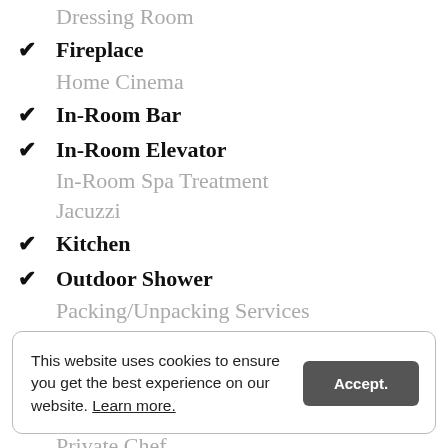Dressing Room
Fireplace
Home Cinema
In-Room Bar
In-Room Elevator
In-Room Spa Treatment
Jacuzzi
Kitchen
Outdoor Shower
Packing/Unpacking Services
Possibility For Connecting Rooms
Private Access
Private Butler
Private Chef
Private Fitness Facility
Private Garden
Private Pool - Indoor
This website uses cookies to ensure you get the best experience on our website. Learn more.